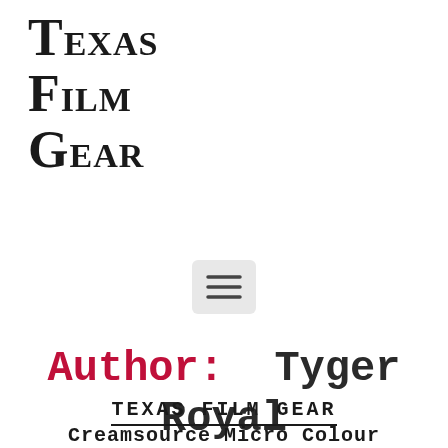Texas Film Gear
[Figure (other): Hamburger menu icon button with three horizontal lines on a light gray rounded rectangle background]
Author: Tyger Royal
TEXAS FILM GEAR
Creamsource Micro Colour